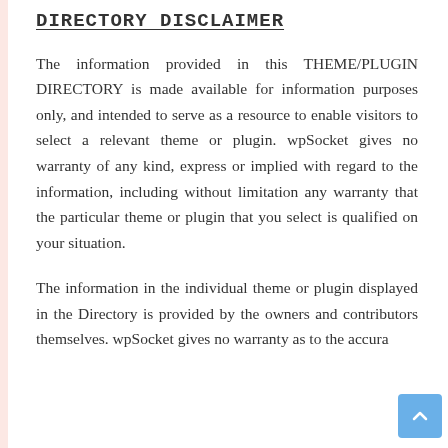DIRECTORY DISCLAIMER
The information provided in this THEME/PLUGIN DIRECTORY is made available for information purposes only, and intended to serve as a resource to enable visitors to select a relevant theme or plugin. wpSocket gives no warranty of any kind, express or implied with regard to the information, including without limitation any warranty that the particular theme or plugin that you select is qualified on your situation.
The information in the individual theme or plugin displayed in the Directory is provided by the owners and contributors themselves. wpSocket gives no warranty as to the accura